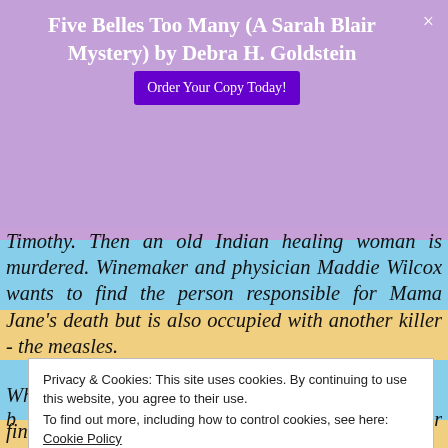Five Belles Too Many (A Sarah Blair Mystery) by Debra H. Goldstein
Timothy. Then an old Indian healing woman is murdered. Winemaker and physician Maddie Wilcox wants to find the person responsible for Mama Jane's death but is also occupied with another killer - the measles.
When Lavina's friend Julia Carson dies trying to
find involves. Julia's death which is not the sort
Privacy & Cookies: This site uses cookies. By continuing to use this website, you agree to their use. To find out more, including how to control cookies, see here: Cookie Policy
Close and accept